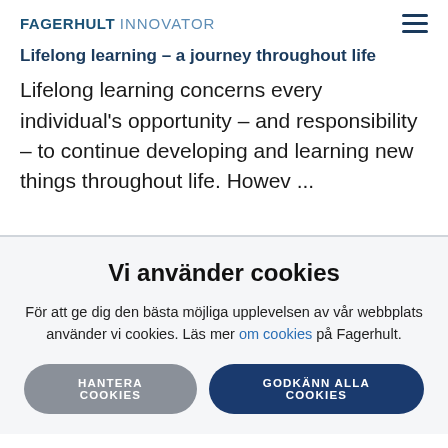FAGERHULT INNOVATOR
Lifelong learning – a journey throughout life
Lifelong learning concerns every individual's opportunity – and responsibility – to continue developing and learning new things throughout life. Howev ...
Vi använder cookies
För att ge dig den bästa möjliga upplevelsen av vår webbplats använder vi cookies. Läs mer om cookies på Fagerhult.
HANTERA COOKIES
GODKÄNN ALLA COOKIES